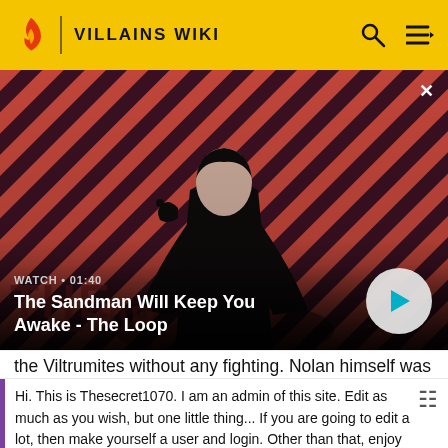VILLAINS WIKI
[Figure (screenshot): Video thumbnail showing a dark-caped man with a raven on his shoulder against a red and dark diagonal stripe background. Text overlay: WATCH · 01:40 / The Sandman Will Keep You Awake - The Loop]
the Viltrumites without any fighting. Nolan himself was
Hi. This is Thesecret1070. I am an admin of this site. Edit as much as you wish, but one little thing... If you are going to edit a lot, then make yourself a user and login. Other than that, enjoy Villains Wiki!!!